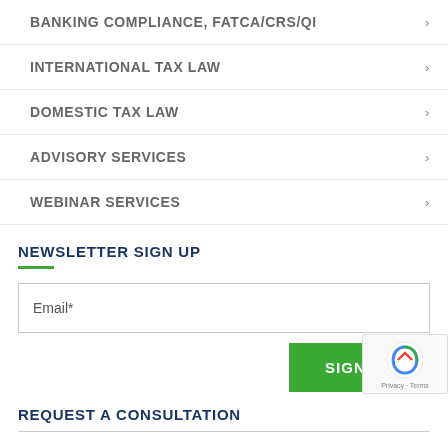BANKING COMPLIANCE, FATCA/CRS/QI
INTERNATIONAL TAX LAW
DOMESTIC TAX LAW
ADVISORY SERVICES
WEBINAR SERVICES
NEWSLETTER SIGN UP
Email*
SIGN UP
REQUEST A CONSULTATION